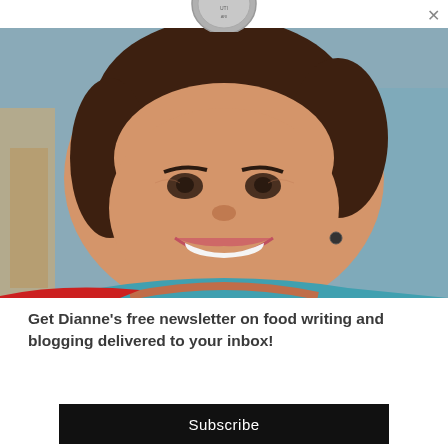[Figure (photo): Circular medal/badge partially visible at top center of the modal popup]
[Figure (photo): Portrait photo of a smiling middle-aged woman with dark hair, wearing a colorful scarf and red top, photographed close-up against a blurred background]
Get Dianne’s free newsletter on food writing and blogging delivered to your inbox!
[Figure (other): Black Subscribe button]